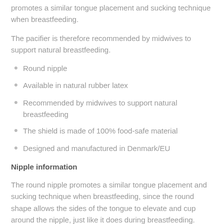promotes a similar tongue placement and sucking technique when breastfeeding.
The pacifier is therefore recommended by midwives to support natural breastfeeding.
Round nipple
Available in natural rubber latex
Recommended by midwives to support natural breastfeeding
The shield is made of 100% food-safe material
Designed and manufactured in Denmark/EU
Nipple information
The round nipple promotes a similar tongue placement and sucking technique when breastfeeding, since the round shape allows the sides of the tongue to elevate and cup around the nipple, just like it does during breastfeeding.
The nipple is equipped with a valve, letting out air when the